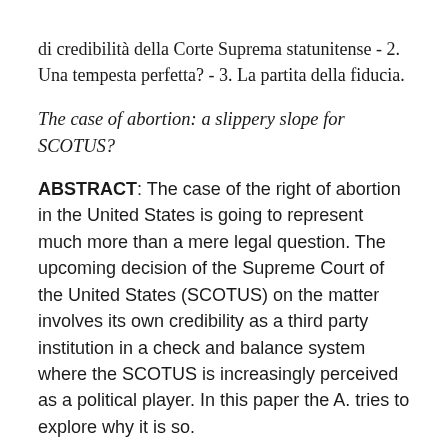di credibilità della Corte Suprema statunitense - 2. Una tempesta perfetta? - 3. La partita della fiducia.
The case of abortion: a slippery slope for SCOTUS?
ABSTRACT: The case of the right of abortion in the United States is going to represent much more than a mere legal question. The upcoming decision of the Supreme Court of the United States (SCOTUS) on the matter involves its own credibility as a third party institution in a check and balance system where the SCOTUS is increasingly perceived as a political player. In this paper the A. tries to explore why it is so.
The author
Professore ordinario di Diritto comparato nell'Università degli